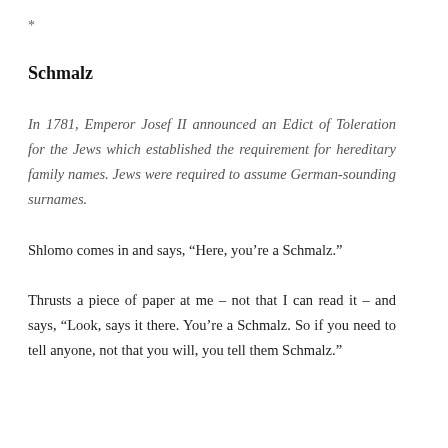*
Schmalz
In 1781, Emperor Josef II announced an Edict of Toleration for the Jews which established the requirement for hereditary family names. Jews were required to assume German-sounding surnames.
Shlomo comes in and says, “Here, you’re a Schmalz.”
Thrusts a piece of paper at me – not that I can read it – and says, “Look, says it there. You’re a Schmalz. So if you need to tell anyone, not that you will, you tell them Schmalz.”